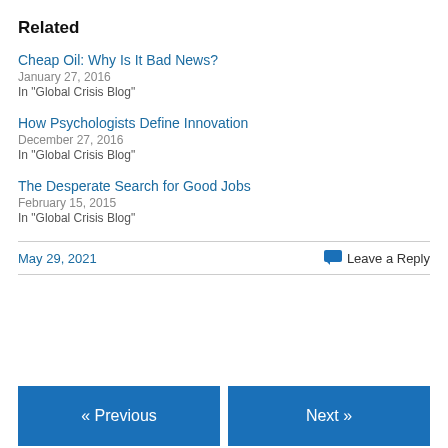Related
Cheap Oil: Why Is It Bad News?
January 27, 2016
In "Global Crisis Blog"
How Psychologists Define Innovation
December 27, 2016
In "Global Crisis Blog"
The Desperate Search for Good Jobs
February 15, 2015
In "Global Crisis Blog"
May 29, 2021
Leave a Reply
« Previous
Next »